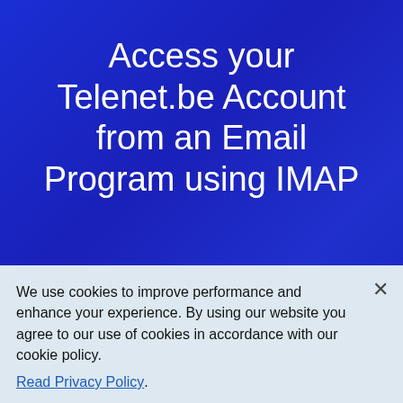Access your Telenet.be Account from an Email Program using IMAP
Telenet.be provides IMAP access to your Telenet.be account, so you can
We use cookies to improve performance and enhance your experience. By using our website you agree to our use of cookies in accordance with our cookie policy.
Read Privacy Policy.